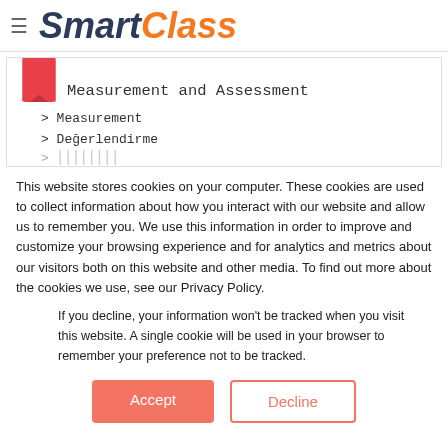SmartClass
Measurement and Assessment
> Measurement
> Değerlendirme
This website stores cookies on your computer. These cookies are used to collect information about how you interact with our website and allow us to remember you. We use this information in order to improve and customize your browsing experience and for analytics and metrics about our visitors both on this website and other media. To find out more about the cookies we use, see our Privacy Policy.
If you decline, your information won't be tracked when you visit this website. A single cookie will be used in your browser to remember your preference not to be tracked.
Accept   Decline